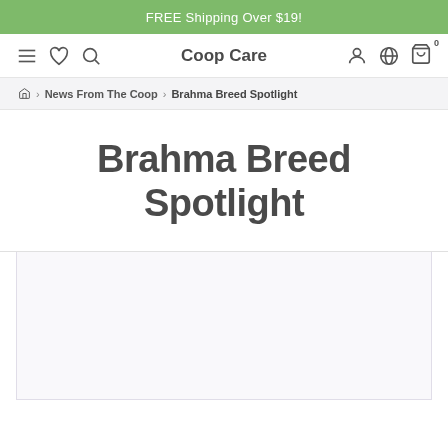FREE Shipping Over $19!
Coop Care
News From The Coop > Brahma Breed Spotlight
Brahma Breed Spotlight
[Figure (photo): Image placeholder area below the title, light purple/gray background]